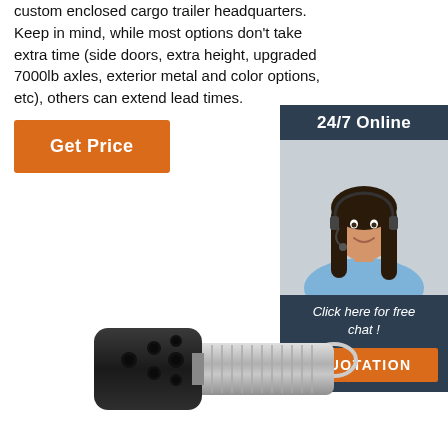custom enclosed cargo trailer headquarters. Keep in mind, while most options don't take extra time (side doors, extra height, upgraded 7000lb axles, exterior metal and color options, etc), others can extend lead times.
[Figure (other): Orange 'Get Price' button]
[Figure (other): 24/7 Online chat sidebar widget with dark blue background, photo of smiling female customer service representative wearing headset, 'Click here for free chat!' text, and orange 'QUOTATION' button]
[Figure (photo): Trailer electrical plug connector — black plastic multi-pin plug with silver metal barrel and ring pull]